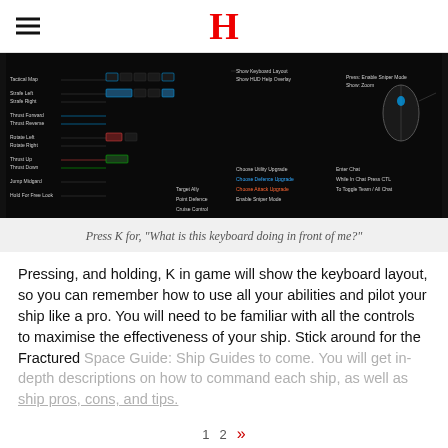H
[Figure (screenshot): Dark keyboard layout diagram for the game Fractured Space showing key bindings for ship controls including tactical map, strafe, thrust, rotate, jump, target, and other actions mapped to keyboard keys and mouse.]
Press K for, "What is this keyboard doing in front of me?"
Pressing, and holding, K in game will show the keyboard layout, so you can remember how to use all your abilities and pilot your ship like a pro. You will need to be familiar with all the controls to maximise the effectiveness of your ship. Stick around for the Fractured Space Guide: Ship Guides to come. You will get in-depth descriptions on how to command each ship, as well as ship pros, cons, and tips.
1  2  »